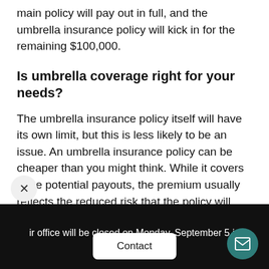main policy will pay out in full, and the umbrella insurance policy will kick in for the remaining $100,000.
Is umbrella coverage right for your needs?
The umbrella insurance policy itself will have its own limit, but this is less likely to be an issue. An umbrella insurance policy can be cheaper than you might think. While it covers large potential payouts, the premium usually reflects the reduced risk that the policy will
ir office will be closed on Monday, September 5 in
Contact